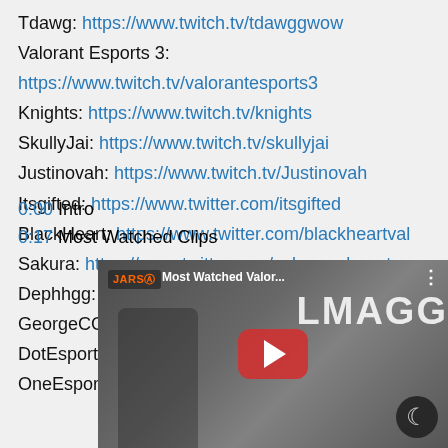Tdawg: https://www.twitch.tv/tdawggwow
Valorant Esports 3:
https://www.twitch.tv/valorantesports3
Knights: https://www.twitch.tv/knights
SkullyJai: https://www.twitch.tv/skullyjai
Justinovah: https://www.twitch.tv/Justinovah
Itsgifted: https://www.twitter.com/itsgifted
BlackHeart: https://www.twitter.com/blackheartval
Sakura: https://www.twitter.com/sakuravalorant
Dephhgg: https://www.twitter.com/dephhgg
GeorgeCGed: https://www.twitter.com/georgecged
DotEsports.com
OneEsports.org
[Figure (screenshot): YouTube video thumbnail overlay with JARSO branding, title 'Most Watched Valor...', red play button, person silhouette, LMAGG text, and moon/night mode icon in bottom right.]
0:00 Intro
0:17 Most Watched Clips